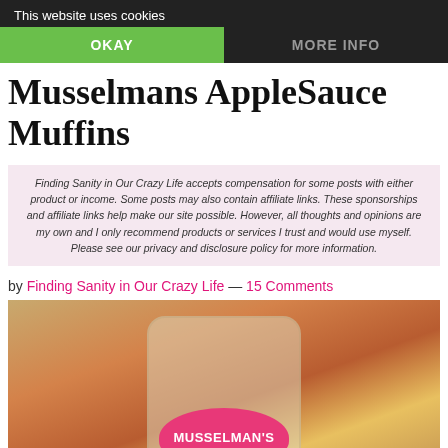This website uses cookies
OKAY
MORE INFO
Musselmans AppleSauce Muffins
Finding Sanity in Our Crazy Life accepts compensation for some posts with either product or income. Some posts may also contain affiliate links. These sponsorships and affiliate links help make our site possible. However, all thoughts and opinions are my own and I only recommend products or services I trust and would use myself. Please see our privacy and disclosure policy for more information.
by Finding Sanity in Our Crazy Life — 15 Comments
[Figure (photo): A jar of Musselman's applesauce surrounded by autumn leaves and baked goods]